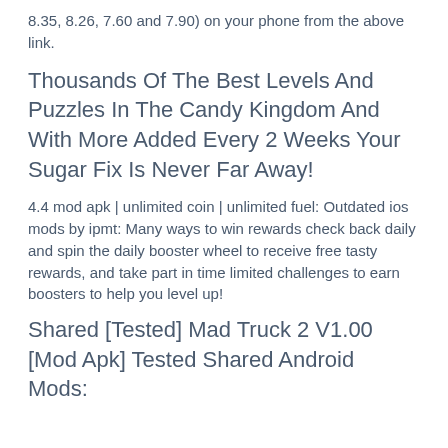8.35, 8.26, 7.60 and 7.90) on your phone from the above link.
Thousands Of The Best Levels And Puzzles In The Candy Kingdom And With More Added Every 2 Weeks Your Sugar Fix Is Never Far Away!
4.4 mod apk | unlimited coin | unlimited fuel: Outdated ios mods by ipmt: Many ways to win rewards check back daily and spin the daily booster wheel to receive free tasty rewards, and take part in time limited challenges to earn boosters to help you level up!
Shared [Tested] Mad Truck 2 V1.00 [Mod Apk] Tested Shared Android Mods: